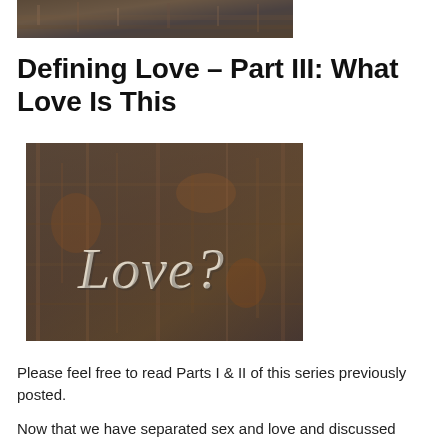[Figure (photo): Partial top of a rusted metal surface photo, cropped at top of page]
Defining Love – Part III: What Love Is This
[Figure (photo): A dark rusted metal surface with the text 'Love?' written in white serif letters]
Please feel free to read Parts I & II of this series previously posted.
Now that we have separated sex and love and discussed